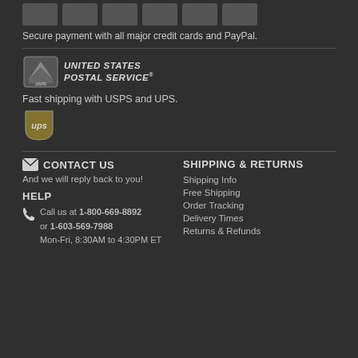[Figure (other): Row of payment method logos (credit cards and PayPal icons)]
Secure payment with all major credit cards and PayPal.
[Figure (logo): United States Postal Service (USPS) logo]
Fast shipping with USPS and UPS.
[Figure (logo): UPS logo]
CONTACT US
And we will reply back to you!
HELP
Call us at 1-800-669-8892
or 1-603-569-7988
Mon-Fri, 8:30AM to 4:30PM ET
SHIPPING & RETURNS
Shipping Info
Free Shipping
Order Tracking
Delivery Times
Returns & Refunds